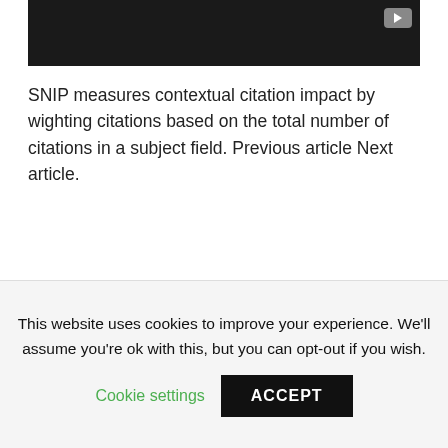[Figure (screenshot): Top portion of a YouTube video player showing a dark/black background with a YouTube play button icon in the top-right corner]
SNIP measures contextual citation impact by wighting citations based on the total number of citations in a subject field. Previous article Next article.
[Figure (screenshot): YouTube video thumbnail for 'Coagulación Sanguínea - Ti...' showing a woman smiling in front of a monitor with a channel logo (red checkmark on white background in a dark blue circle). Three-dot menu icon visible on right.]
This website uses cookies to improve your experience. We'll assume you're ok with this, but you can opt-out if you wish.
Cookie settings  ACCEPT